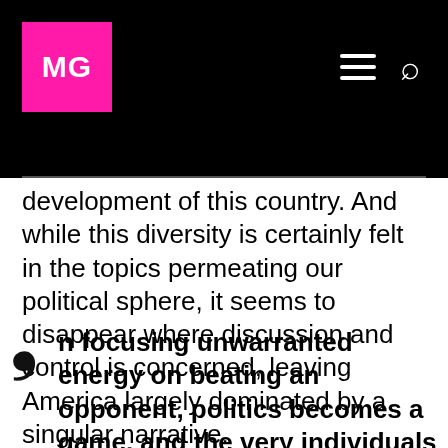MG
development of this country. And while this diversity is certainly felt in the topics permeating our political sphere, it seems to disappear where discussion and control is concerned, leaving America largely dominated by a singular narrative.
In focusing unwarranted energy on beating an opponent, politics becomes a game, and the very individuals affected, the voters, are neglected both as subjects, and as facilitators of debate, the readers...